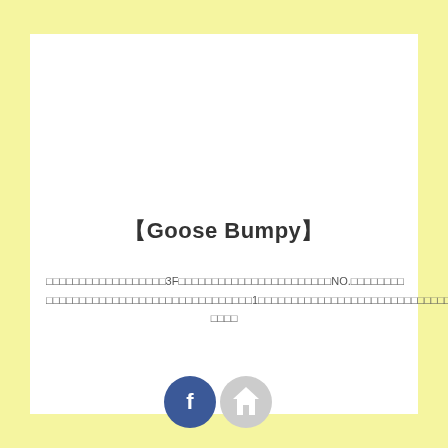【Goose Bumpy】
□□□□□□□□□□□□□□□□□□3F□□□□□□□□□□□□□□□□□□□□□□□NO.□□□□□□□□□□□□□□□□□□□□□□□□□□□□□□□□□□□□1□□□□□□□□□□□□□□□□□□□□□□□□□□□□□□□□□□□□□□□□
[Figure (other): Two circular icon buttons: a Facebook icon (blue circle with white 'f') and a home icon (grey circle with white house symbol)]